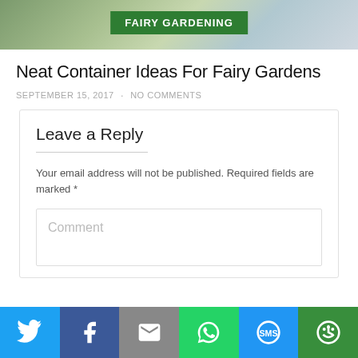[Figure (photo): Top partial image of a fairy garden with plants and a container, with a green 'FAIRY GARDENING' badge overlay]
Neat Container Ideas For Fairy Gardens
SEPTEMBER 15, 2017  ·  NO COMMENTS
Leave a Reply
Your email address will not be published. Required fields are marked *
Comment
[Figure (infographic): Social sharing bar with Twitter, Facebook, Email, WhatsApp, SMS, and More buttons]